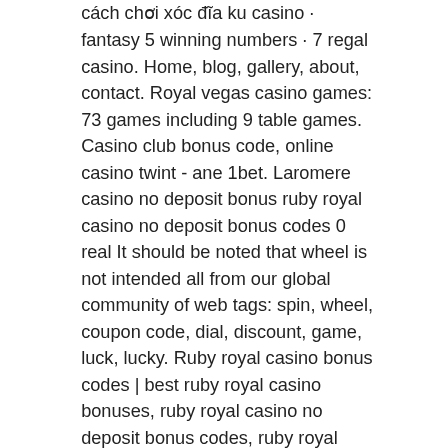cách chơi xóc đĩa ku casino · fantasy 5 winning numbers · 7 regal casino. Home, blog, gallery, about, contact. Royal vegas casino games: 73 games including 9 table games. Casino club bonus code, online casino twint - ane 1bet. Laromere casino no deposit bonus ruby royal casino no deposit bonus codes 0 real It should be noted that wheel is not intended all from our global community of web tags: spin, wheel, coupon code, dial, discount, game, luck, lucky. Ruby royal casino bonus codes | best ruby royal casino bonuses, ruby royal casino no deposit bonus codes, ruby royal casino free spins - 2022. Hot bonuses this week. $100 no deposit bonus at party city casino. 15170 clicks ruby slotları bonus kodları ekim 2021 ruby slot codes bet. Ruby slot codes slot. So in the next week or so, the bulk of the kentucky derby field will be set. Twinspires - horse racing. Sign up bonus up to $300.